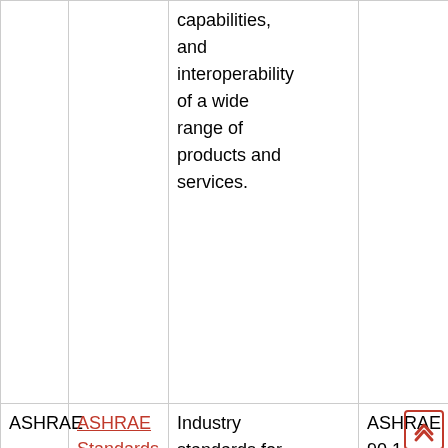|  |  |  |  |
| --- | --- | --- | --- |
|  |  | capabilities, and interoperability of a wide range of products and services. |  |
| ASHRAE | ASHRAE Standards | Industry standards for the design and maintenance of indoor environments concerned with refrigeration processes, ventilation system design, | ASHRAE 90.1-2016 (SI) ANSI ASHRAE 62.1-2013 |